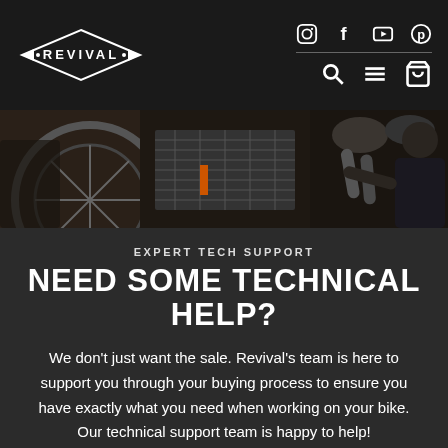Revival - Expert Tech Support
[Figure (screenshot): Website navigation header: Revival logo (diamond shape with arrow tips) on left, social media icons (Instagram, Facebook, YouTube, Pinterest) top right, search/menu/cart icons below them on dark background]
[Figure (photo): Hero image of motorcycle parts close-up with mechanic working on engine in background, dark moody photography]
EXPERT TECH SUPPORT
NEED SOME TECHNICAL HELP?
We don't just want the sale. Revival's team is here to support you through your buying process to ensure you have exactly what you need when working on your bike. Our technical support team is happy to help!
CONTACT US